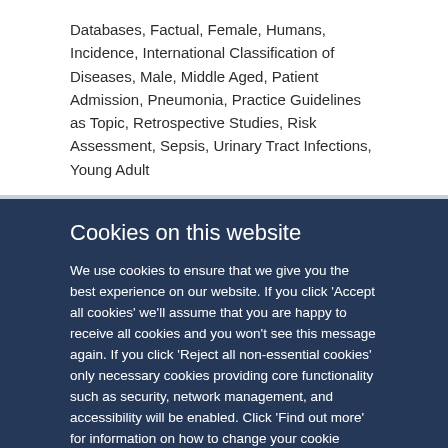Databases, Factual, Female, Humans, Incidence, International Classification of Diseases, Male, Middle Aged, Patient Admission, Pneumonia, Practice Guidelines as Topic, Retrospective Studies, Risk Assessment, Sepsis, Urinary Tract Infections, Young Adult
Cookies on this website
We use cookies to ensure that we give you the best experience on our website. If you click 'Accept all cookies' we'll assume that you are happy to receive all cookies and you won't see this message again. If you click 'Reject all non-essential cookies' only necessary cookies providing core functionality such as security, network management, and accessibility will be enabled. Click 'Find out more' for information on how to change your cookie settings.